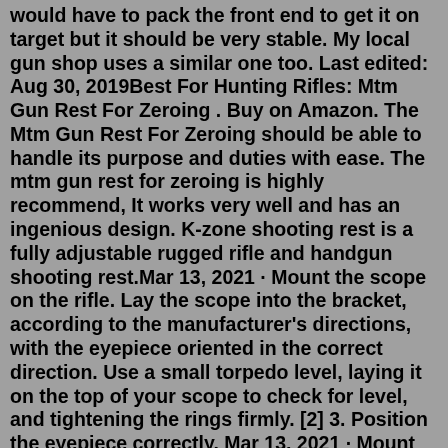would have to pack the front end to get it on target but it should be very stable. My local gun shop uses a similar one too. Last edited: Aug 30, 2019Best For Hunting Rifles: Mtm Gun Rest For Zeroing . Buy on Amazon. The Mtm Gun Rest For Zeroing should be able to handle its purpose and duties with ease. The mtm gun rest for zeroing is highly recommend, It works very well and has an ingenious design. K-zone shooting rest is a fully adjustable rugged rifle and handgun shooting rest.Mar 13, 2021 · Mount the scope on the rifle. Lay the scope into the bracket, according to the manufacturer's directions, with the eyepiece oriented in the correct direction. Use a small torpedo level, laying it on the top of your scope to check for level, and tightening the rings firmly. [2] 3. Position the eyepiece correctly. Mar 13, 2021 · Mount the scope on the rifle. Lay the scope into the bracket, according to the manufacturer's directions, with the eyepiece oriented in the correct direction. Use a small torpedo level, laying it on the top of your scope to check for level, and tightening the rings firmly. [2] 3.